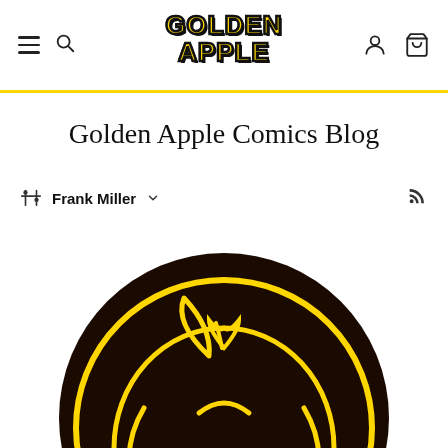Golden Apple Comics - Navigation header with hamburger menu, search, logo, account and cart icons
Golden Apple Comics Blog
Frank Miller (filter/tag selected with dropdown chevron and RSS icon)
[Figure (logo): Golden Apple Comics circular logo — black circle with yellow outlined apple shape and leaf on dark background]